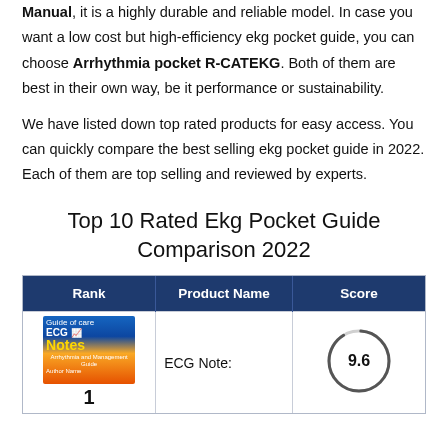Manual, it is a highly durable and reliable model. In case you want a low cost but high-efficiency ekg pocket guide, you can choose Arrhythmia pocket R-CATEKG. Both of them are best in their own way, be it performance or sustainability.
We have listed down top rated products for easy access. You can quickly compare the best selling ekg pocket guide in 2022. Each of them are top selling and reviewed by experts.
Top 10 Rated Ekg Pocket Guide Comparison 2022
| Rank | Product Name | Score |
| --- | --- | --- |
| 1 | ECG Note: | 9.6 |